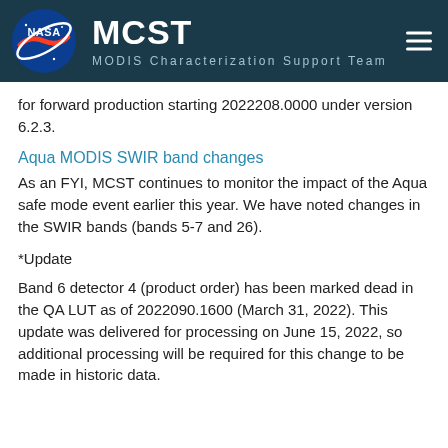MCST MODIS Characterization Support Team
for forward production starting 2022208.0000 under version 6.2.3.
Aqua MODIS SWIR band changes
As an FYI, MCST continues to monitor the impact of the Aqua safe mode event earlier this year. We have noted changes in the SWIR bands (bands 5-7 and 26).
*Update
Band 6 detector 4 (product order) has been marked dead in the QA LUT as of 2022090.1600 (March 31, 2022). This update was delivered for processing on June 15, 2022, so additional processing will be required for this change to be made in historic data.